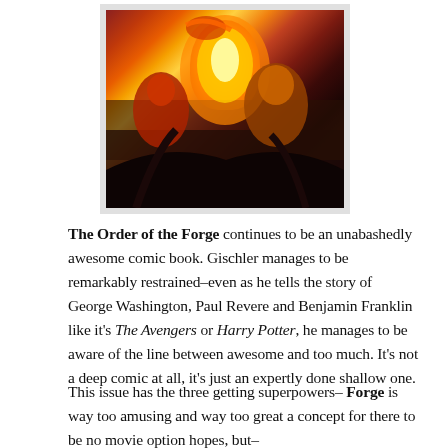[Figure (illustration): Comic book cover art showing fiery/flame characters in action, red and orange dramatic tones with dark background]
The Order of the Forge continues to be an unabashedly awesome comic book. Gischler manages to be remarkably restrained–even as he tells the story of George Washington, Paul Revere and Benjamin Franklin like it's The Avengers or Harry Potter, he manages to be aware of the line between awesome and too much. It's not a deep comic at all, it's just an expertly done shallow one.
This issue has the three getting superpowers–Forge is way too amusing and way too great a concept for there to be no movie option hopes, but–anyway, Gischler manages the side of caution...